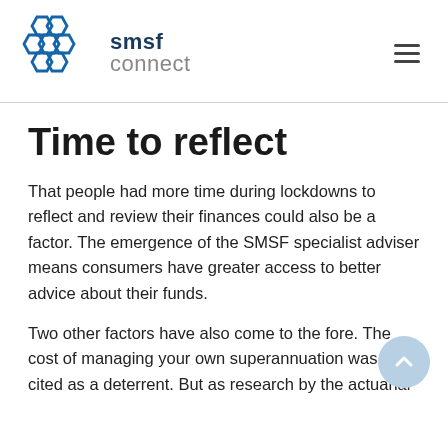smsf connect
Time to reflect
That people had more time during lockdowns to reflect and review their finances could also be a factor. The emergence of the SMSF specialist adviser means consumers have greater access to better advice about their funds.
Two other factors have also come to the fore. The cost of managing your own superannuation was often cited as a deterrent. But as research by the actuarial